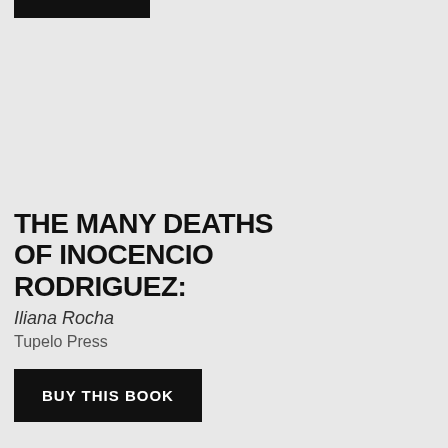[Figure (other): Black rectangular bar at top left of page]
THE MANY DEATHS OF INOCENCIO RODRIGUEZ:
Iliana Rocha
Tupelo Press
BUY THIS BOOK